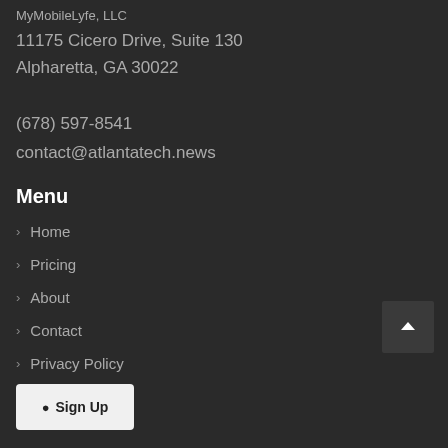MyMobileLyfe, LLC
11175 Cicero Drive, Suite 130
Alpharetta, GA 30022
(678) 597-8541
contact@atlantatech.news
Menu
Home
Pricing
About
Contact
Privacy Policy
Terms of Use
Sign Up